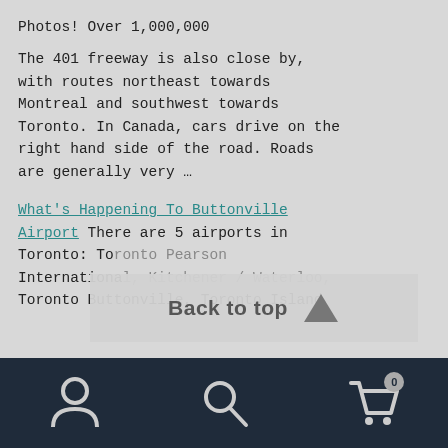Photos! Over 1,000,000
The 401 freeway is also close by, with routes northeast towards Montreal and southwest towards Toronto. In Canada, cars drive on the right hand side of the road. Roads are generally very …
What's Happening To Buttonville Airport There are 5 airports in Toronto: Toronto Pearson International, Kitchener / Waterloo, Toronto Buttonville, Toronto Island
[Figure (screenshot): Back to top button overlay with upward arrow triangle]
Bottom navigation bar with user icon, search icon, and cart icon with badge showing 0